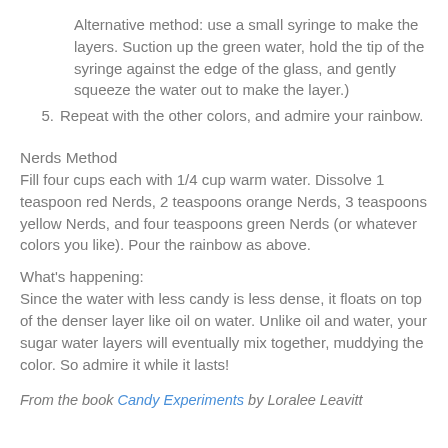Alternative method: use a small syringe to make the layers. Suction up the green water, hold the tip of the syringe against the edge of the glass, and gently squeeze the water out to make the layer.)
5. Repeat with the other colors, and admire your rainbow.
Nerds Method
Fill four cups each with 1/4 cup warm water. Dissolve 1 teaspoon red Nerds, 2 teaspoons orange Nerds, 3 teaspoons yellow Nerds, and four teaspoons green Nerds (or whatever colors you like). Pour the rainbow as above.
What's happening:
Since the water with less candy is less dense, it floats on top of the denser layer like oil on water. Unlike oil and water, your sugar water layers will eventually mix together, muddying the color. So admire it while it lasts!
From the book Candy Experiments by Loralee Leavitt